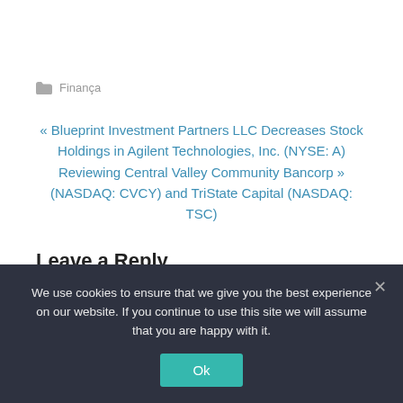Finança
« Blueprint Investment Partners LLC Decreases Stock Holdings in Agilent Technologies, Inc. (NYSE: A)    Reviewing Central Valley Community Bancorp » (NASDAQ: CVCY) and TriState Capital (NASDAQ: TSC)
Leave a Reply
Your email address will not be published. Required
We use cookies to ensure that we give you the best experience on our website. If you continue to use this site we will assume that you are happy with it.